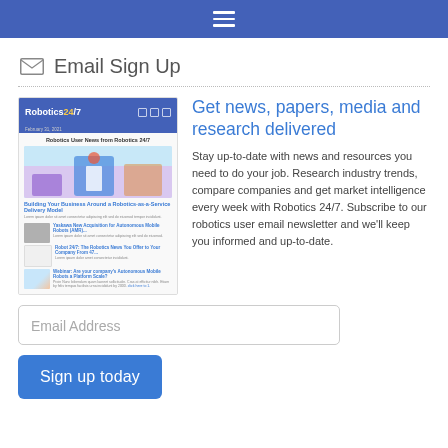≡
Email Sign Up
[Figure (screenshot): Screenshot of Robotics 24/7 email newsletter showing articles about robotics with images and text]
Get news, papers, media and research delivered
Stay up-to-date with news and resources you need to do your job. Research industry trends, compare companies and get market intelligence every week with Robotics 24/7. Subscribe to our robotics user email newsletter and we'll keep you informed and up-to-date.
Email Address
Sign up today